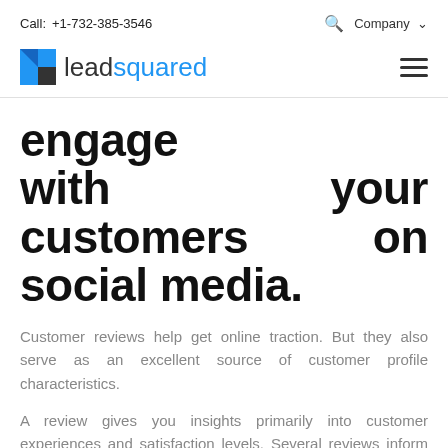Call: +1-732-385-3546   Q  Company
[Figure (logo): LeadSquared logo with blue square icon and text 'leadsquared' in blue and dark grey]
engage with your customers on social media.
Customer reviews help get online traction. But they also serve as an excellent source of customer profile characteristics.
A review gives you insights primarily into customer experiences and satisfaction levels. Several reviews inform readers about the pros and cons of a product, which is also a source of